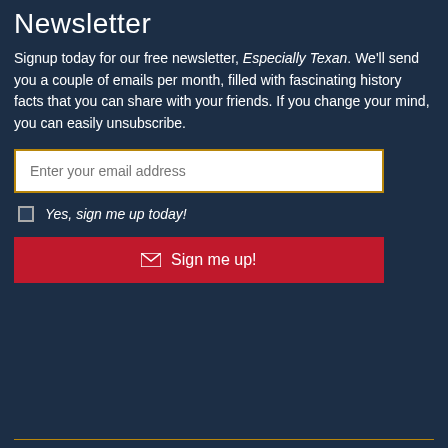Newsletter
Signup today for our free newsletter, Especially Texan. We'll send you a couple of emails per month, filled with fascinating history facts that you can share with your friends. If you change your mind, you can easily unsubscribe.
Enter your email address
Yes, sign me up today!
Sign me up!